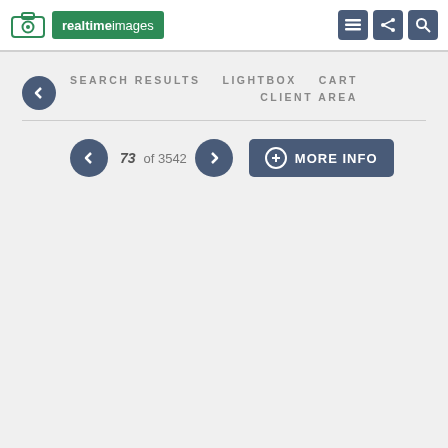realtime images
SEARCH RESULTS   LIGHTBOX   CART   CLIENT AREA
73 of 3542   MORE INFO